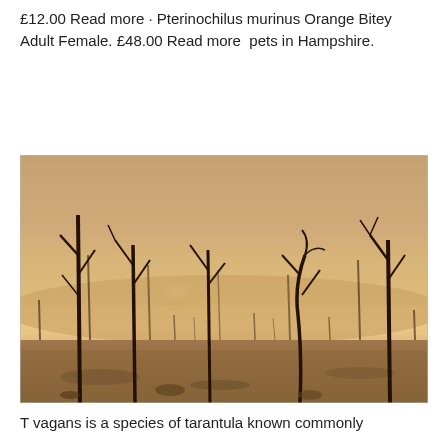£12.00 Read more · Pterinochilus murinus Orange Bitey Adult Female. £48.00 Read more  pets in Hampshire.
[Figure (photo): Sepia-toned photograph of a burnt or dead landscape with charred leafless tree stumps and branches against a hazy, foggy warm-toned sky, suggesting a post-fire or arid environment.]
T vagans is a species of tarantula known commonly